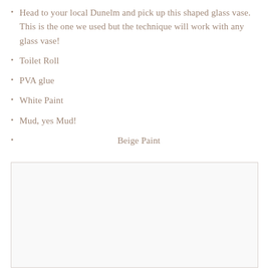Head to your local Dunelm and pick up this shaped glass vase. This is the one we used but the technique will work with any glass vase!
Toilet Roll
PVA glue
White Paint
Mud, yes Mud!
Beige Paint
[Figure (photo): A blank/white image area with a light border, likely a placeholder for a photo of the vase craft project.]